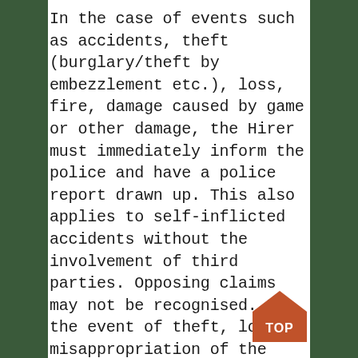In the case of events such as accidents, theft (burglary/theft by embezzlement etc.), loss, fire, damage caused by game or other damage, the Hirer must immediately inform the police and have a police report drawn up. This also applies to self-inflicted accidents without the involvement of third parties. Opposing claims may not be recognised. In the event of theft, loss or misappropriation of the vehicle, Rent a Classic must always be contacted immediately in addition to the police. In the event of any of the aforementioned incidents, even in the case of minor damage, the hirer must immediately draw up a
[Figure (logo): Orange house-shaped badge with white bold text 'TOP']